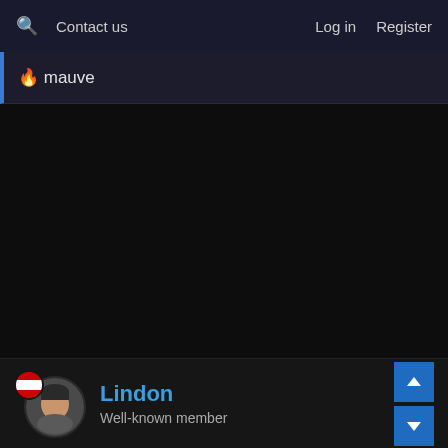🔍 Contact us    Log in    Register
🔥 mauve
[Figure (photo): Dark content/main area of a forum thread, mostly empty black space]
Lindon
Well-known member